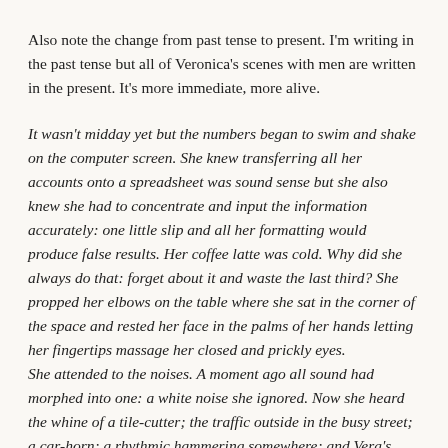Also note the change from past tense to present. I'm writing in the past tense but all of Veronica's scenes with men are written in the present. It's more immediate, more alive.
It wasn't midday yet but the numbers began to swim and shake on the computer screen. She knew transferring all her accounts onto a spreadsheet was sound sense but she also knew she had to concentrate and input the information accurately: one little slip and all her formatting would produce false results. Her coffee latte was cold. Why did she always do that: forget about it and waste the last third? She propped her elbows on the table where she sat in the corner of the space and rested her face in the palms of her hands letting her fingertips massage her closed and prickly eyes. She attended to the noises. A moment ago all sound had morphed into one: a white noise she ignored. Now she heard the whine of a tile-cutter; the traffic outside in the busy street; a car-horn; a rhythmic hammering somewhere; and Vera's buzz-saw voice talking